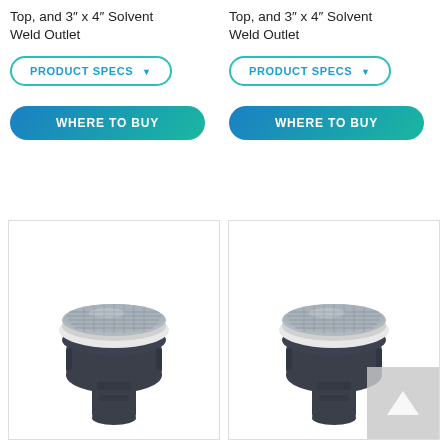Top, and 3″ x 4″ Solvent Weld Outlet
Top, and 3″ x 4″ Solvent Weld Outlet
[Figure (screenshot): PRODUCT SPECS button (outlined teal pill button with dropdown arrow)]
[Figure (screenshot): PRODUCT SPECS button (outlined teal pill button with dropdown arrow)]
[Figure (screenshot): WHERE TO BUY button (solid blue-green gradient pill button)]
[Figure (screenshot): WHERE TO BUY button (solid blue-green gradient pill button)]
[Figure (photo): Pool drain/strainer product photo: dark grey plastic body with circular stainless mesh top and white collar ring]
[Figure (photo): Pool drain/strainer product photo: dark grey plastic body with circular stainless mesh top and white collar ring, with back-to-top icon overlay in bottom right]